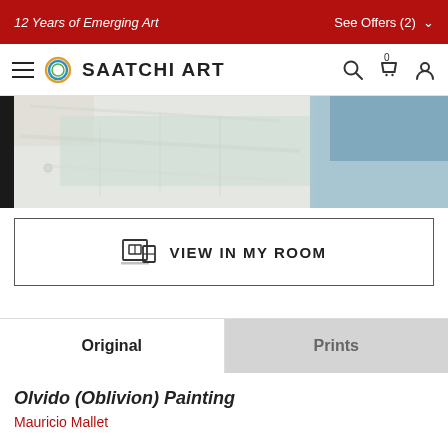12 Years of Emerging Art | See Offers (2)
SAATCHI ART
[Figure (photo): Close-up photograph of a textured abstract painting with pale green, off-white, pinkish, and blue paint strokes with heavy impasto texture. Left edge shows dark border.]
VIEW IN MY ROOM
Original | Prints
Olvido (Oblivion) Painting
Mauricio Mallet